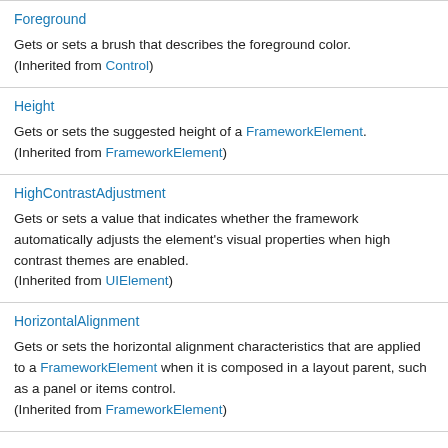| Foreground | Gets or sets a brush that describes the foreground color. (Inherited from Control) |
| Height | Gets or sets the suggested height of a FrameworkElement. (Inherited from FrameworkElement) |
| HighContrastAdjustment | Gets or sets a value that indicates whether the framework automatically adjusts the element's visual properties when high contrast themes are enabled. (Inherited from UIElement) |
| HorizontalAlignment | Gets or sets the horizontal alignment characteristics that are applied to a FrameworkElement when it is composed in a layout parent, such as a panel or items control. (Inherited from FrameworkElement) |